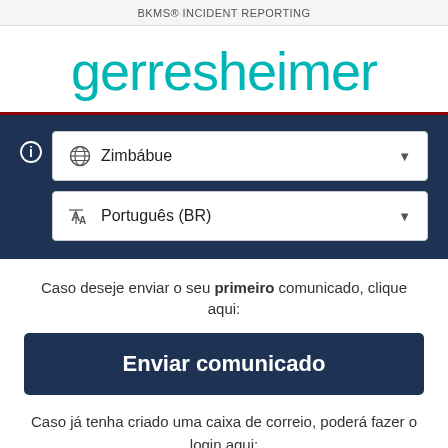BKMS® INCIDENT REPORTING
[Figure (logo): Gerresheimer logo in teal/cyan color]
[Figure (screenshot): Dark navy panel with info icon, country selector showing 'Zimbábue' with globe icon and dropdown, and language selector showing 'Português (BR)' with translate icon and dropdown]
Caso deseje enviar o seu primeiro comunicado, clique aqui:
[Figure (screenshot): Dark navy button labeled 'Enviar comunicado']
Caso já tenha criado uma caixa de correio, poderá fazer o login aqui:
[Figure (screenshot): Light gray button partially visible showing 'Login']